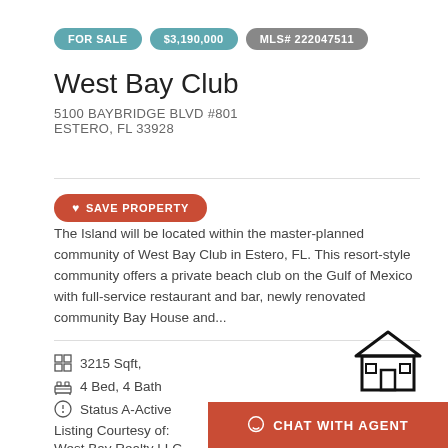FOR SALE | $3,190,000 | MLS# 222047511
West Bay Club
5100 BAYBRIDGE BLVD #801
ESTERO, FL 33928
SAVE PROPERTY
The Island will be located within the master-planned community of West Bay Club in Estero, FL. This resort-style community offers a private beach club on the Gulf of Mexico with full-service restaurant and bar, newly renovated community Bay House and...
3215 Sqft,
4 Bed, 4 Bath
Status A-Active
Listing Courtesy of:
West Bay Realty LLC
CHAT WITH AGENT